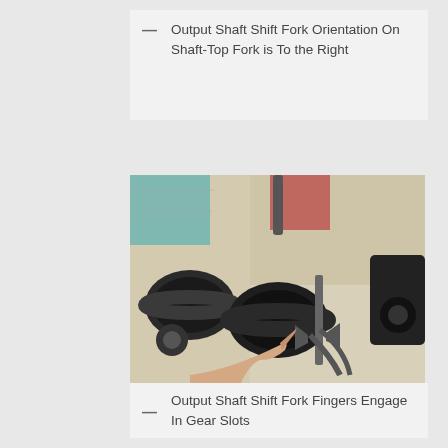Output Shaft Shift Fork Orientation On Shaft-Top Fork is To the Right
[Figure (photo): Photograph of motorcycle transmission components laid out on newspaper. A hand points to gear clusters and shift forks on an output shaft, with additional transmission parts visible to the right.]
Output Shaft Shift Fork Fingers Engage In Gear Slots